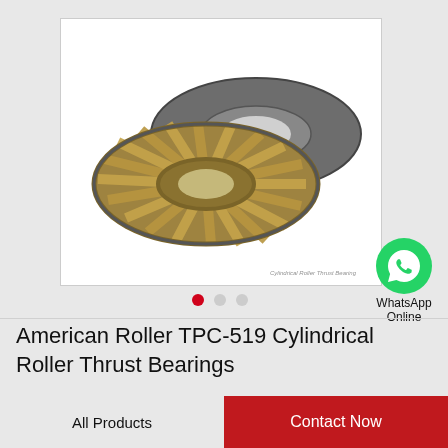[Figure (photo): Cylindrical roller thrust bearing product photo showing two parts: a cage-and-roller thrust washer assembly (gold/metallic) and a flat steel washer (dark gray), displayed on white background. Watermark text reads 'Cylindrical Roller Thrust Bearing'.]
WhatsApp Online
American Roller TPC-519 Cylindrical Roller Thrust Bearings
All Products
Contact Now